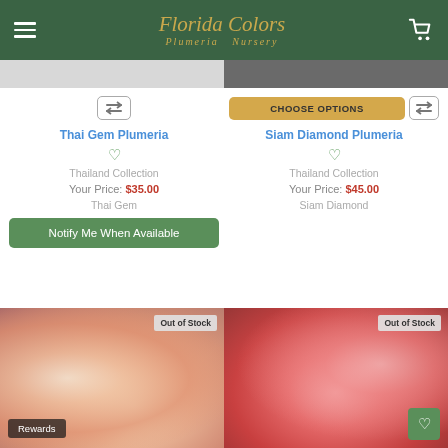Florida Colors Plumeria Nursery
[Figure (screenshot): Top partial product image strip - left side light/white, right side dark]
Thai Gem Plumeria - Thailand Collection - Your Price: $35.00 - Thai Gem - Notify Me When Available
Siam Diamond Plumeria - Thailand Collection - Your Price: $45.00 - Siam Diamond - CHOOSE OPTIONS
[Figure (photo): Pink and yellow plumeria flowers - Out of Stock - Rewards badge]
[Figure (photo): Pink plumeria flowers - Out of Stock - heart badge]